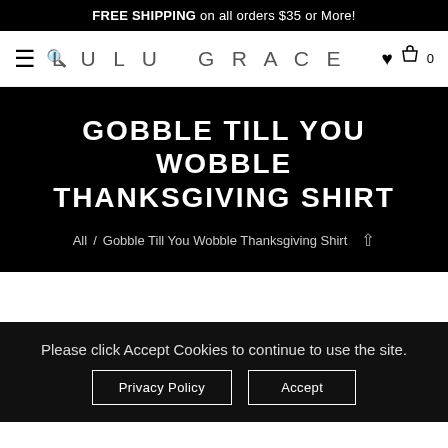FREE SHIPPING on all orders $35 or More!
LULU GRACE
GOBBLE TILL YOU WOBBLE THANKSGIVING SHIRT
All / Gobble Till You Wobble Thanksgiving Shirt
Please click Accept Cookies to continue to use the site.
Privacy Policy
Accept